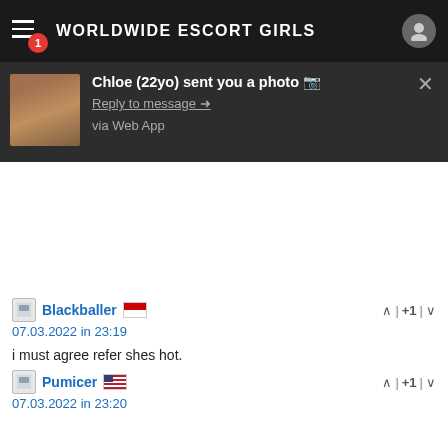WORLDWIDE ESCORT GIRLS
[Figure (screenshot): Push notification popup: 'Chloe (22yo) sent you a photo' with thumbnail, Reply to message link, via Web App text]
i must agree refer shes hot.
Blackballer
07.03.2022 in 23:19
+1
The same can happen by meeting anyone anywhere, not just adult online sites.
Pumicer
07.03.2022 in 23:20
+1
^wesome Baby! Beautiful
Demiplate
08.03.2022 in 02:16
+1
Abacus
09.03.2022 in 17:22